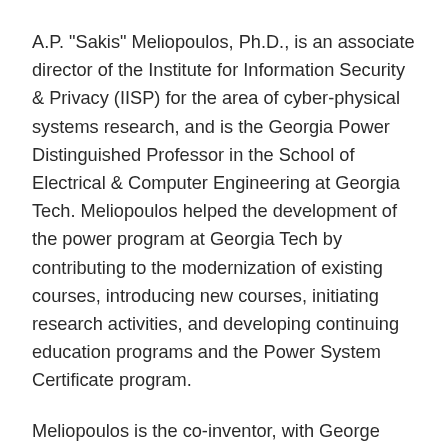A.P. "Sakis" Meliopoulos, Ph.D., is an associate director of the Institute for Information Security & Privacy (IISP) for the area of cyber-physical systems research, and is the Georgia Power Distinguished Professor in the School of Electrical & Computer Engineering at Georgia Tech. Meliopoulos helped the development of the power program at Georgia Tech by contributing to the modernization of existing courses, introducing new courses, initiating research activities, and developing continuing education programs and the Power System Certificate program.
Meliopoulos is the co-inventor, with George Cokkinides, of the Smart Ground Multimeter and the Macrodyne PMU-based Harmonic Measurement System for transmission networks. In his most recent research activities, he has introduced new approaches for